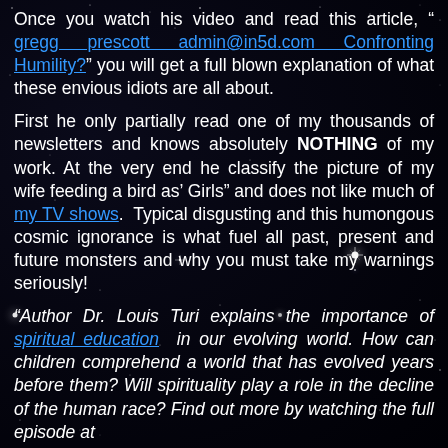Once you watch his video and read this article, “ gregg prescott admin@in5d.com Confronting Humility?” you will get a full blown explanation of what these envious idiots are all about.
First he only partially read one of my thousands of newsletters and knows absolutely NOTHING of my work. At the very end he classify the picture of my wife feeding a bird as’ Girls” and does not like much of my TV shows. Typical disgusting and this humongous cosmic ignorance is what fuel all past, present and future monsters and why you must take my warnings seriously!
“Author Dr. Louis Turi explains the importance of spiritual education in our evolving world. How can children comprehend a world that has evolved years before them? Will spirituality play a role in the decline of the human race? Find out more by watching the full episode at